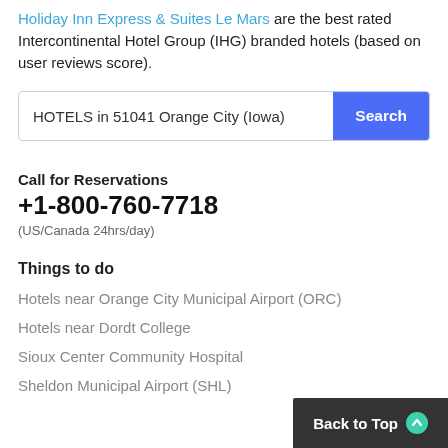Holiday Inn Express & Suites Le Mars are the best rated Intercontinental Hotel Group (IHG) branded hotels (based on user reviews score).
HOTELS in 51041 Orange City (Iowa) [Search]
Call for Reservations
+1-800-760-7718
(US/Canada 24hrs/day)
Things to do
Hotels near Orange City Municipal Airport (ORC)
Hotels near Dordt College
Sioux Center Community Hospital
Sheldon Municipal Airport (SHL)
Back to Top